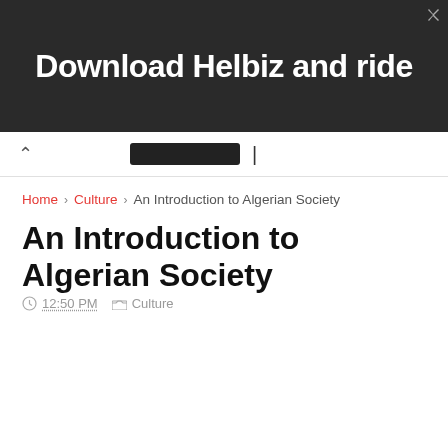[Figure (screenshot): Advertisement banner with dark background showing text 'Download Helbiz and ride' in white bold font, with close button icons in top right]
Navigation bar with back chevron, dark pill element, and pipe separator
Home › Culture › An Introduction to Algerian Society
An Introduction to Algerian Society
12:50 PM  Culture